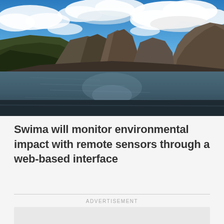[Figure (photo): Landscape photograph of a mountain valley with a calm lake/reservoir in the foreground, green and brown mountains on either side converging to peaks in the middle distance, and a dramatic blue sky with large white cumulus clouds above.]
Swima will monitor environmental impact with remote sensors through a web-based interface
ADVERTISEMENT